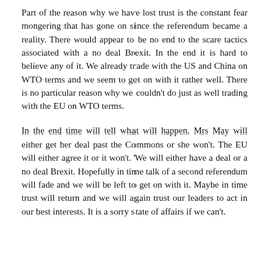Part of the reason why we have lost trust is the constant fear mongering that has gone on since the referendum became a reality. There would appear to be no end to the scare tactics associated with a no deal Brexit. In the end it is hard to believe any of it. We already trade with the US and China on WTO terms and we seem to get on with it rather well. There is no particular reason why we couldn't do just as well trading with the EU on WTO terms.
In the end time will tell what will happen. Mrs May will either get her deal past the Commons or she won't. The EU will either agree it or it won't. We will either have a deal or a no deal Brexit. Hopefully in time talk of a second referendum will fade and we will be left to get on with it. Maybe in time trust will return and we will again trust our leaders to act in our best interests. It is a sorry state of affairs if we can't.